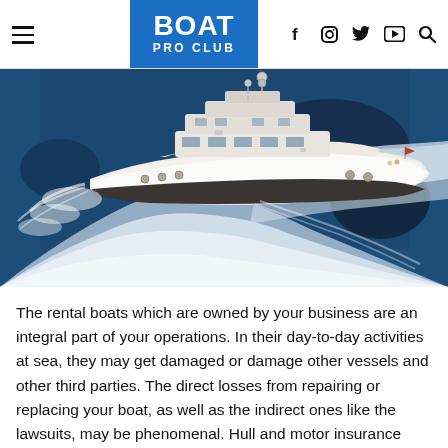BOAT PRO CLUB
[Figure (photo): Aerial view of a large white luxury motor yacht speeding through dark blue ocean water, creating a large white wake, photographed from above and slightly to the side.]
The rental boats which are owned by your business are an integral part of your operations. In their day-to-day activities at sea, they may get damaged or damage other vessels and other third parties. The direct losses from repairing or replacing your boat, as well as the indirect ones like the lawsuits, may be phenomenal. Hull and motor insurance